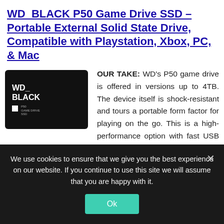WD BLACK P50 Game Drive SSD – Portable External Solid State Drive, Compatible with Playstation, Xbox, PC, & Mac
[Figure (photo): WD BLACK portable SSD device, black rectangular unit with WD_ BLACK branding on front]
OUR TAKE: WD's P50 game drive is offered in versions up to 4TB. The device itself is shock-resistant and tours a portable form factor for playing on the go. This is a high-performance option with fast USB connectivity.
We use cookies to ensure that we give you the best experience on our website. If you continue to use this site we will assume that you are happy with it.